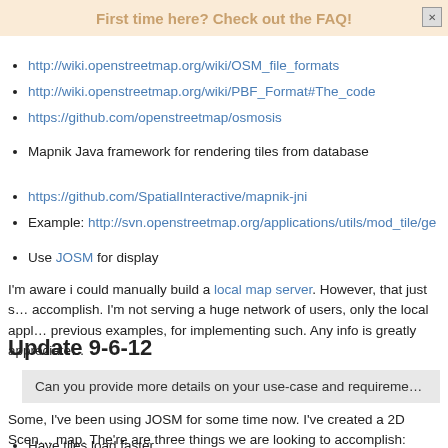Osmosis framework for parsing PBF files and loading to database o…
First time here? Check out the FAQ!
http://wiki.openstreetmap.org/wiki/OSM_file_formats
http://wiki.openstreetmap.org/wiki/PBF_Format#The_code
https://github.com/openstreetmap/osmosis
Mapnik Java framework for rendering tiles from database
https://github.com/SpatialInteractive/mapnik-jni
Example: http://svn.openstreetmap.org/applications/utils/mod_tile/ge…
Use JOSM for display
I'm aware i could manually build a local map server. However, that just s… accomplish. I'm not serving a huge network of users, only the local appl… previous examples, for implementing such. Any info is greatly appreciate…
Update 9-6-12
Can you provide more details on your use-case and requireme…
Some, I've been using JOSM for some time now. I've created a 2D Scen… map. The're are three things we are looking to accomplish:
Have tiles load faster